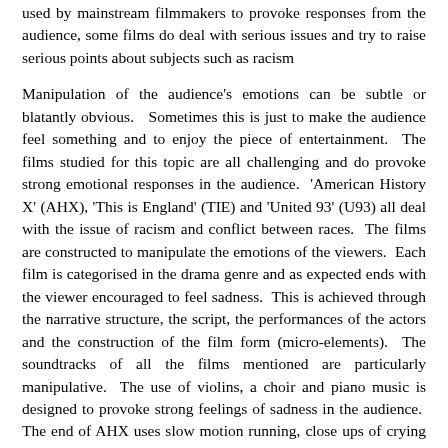used by mainstream filmmakers to provoke responses from the audience, some films do deal with serious issues and try to raise serious points about subjects such as racism
Manipulation of the audience's emotions can be subtle or blatantly obvious.   Sometimes this is just to make the audience feel something and to enjoy the piece of entertainment.  The films studied for this topic are all challenging and do provoke strong emotional responses in the audience.  'American History X' (AHX), 'This is England' (TIE) and 'United 93' (U93) all deal with the issue of racism and conflict between races.  The films are constructed to manipulate the emotions of the viewers.  Each film is categorised in the drama genre and as expected ends with the viewer encouraged to feel sadness.  This is achieved through the narrative structure, the script, the performances of the actors and the construction of the film form (micro-elements).  The soundtracks of all the films mentioned are particularly manipulative.  The use of violins, a choir and piano music is designed to provoke strong feelings of sadness in the audience.  The end of AHX uses slow motion running, close ups of crying characters and strongly emotive music to generate a feeling of sadness in the audience when a main character dies.  Similarly the ending of U93 uses violin music and handheld cinematography to